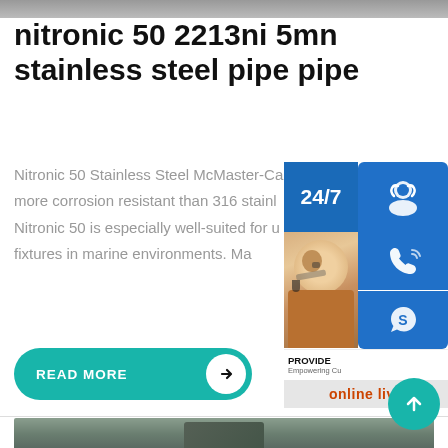[Figure (photo): Top edge of a product/industrial image, partially visible as a thin strip at the very top of the page]
nitronic 50 2213ni 5mn stainless steel pipe pipe
Nitronic 50 Stainless Steel McMaster-Ca more corrosion resistant than 316 stainl Nitronic 50 is especially well-suited for u fixtures in marine environments. Ma
[Figure (screenshot): Sidebar overlay with 24/7 customer service icons: headset icon, phone/call icon, Skype icon, a photo of a woman with headset, PROVIDE Empowering Customers text, and online live button]
READ MORE →
[Figure (photo): Bottom partial image showing a stainless steel pipe or sheet metal product on a surface]